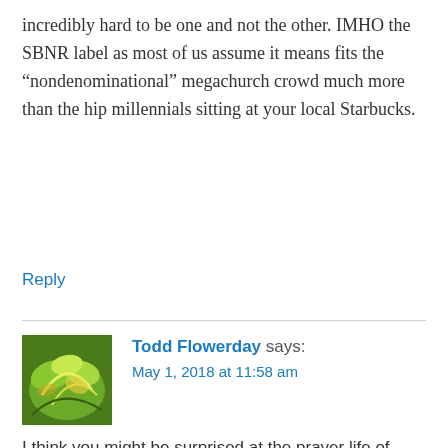incredibly hard to be one and not the other. IMHO the SBNR label as most of us assume it means fits the “nondenominational” megachurch crowd much more than the hip millennials sitting at your local Starbucks.
Reply
[Figure (photo): Avatar photo of Todd Flowerday showing green and yellow leaves/plant]
Todd Flowerday says:
May 1, 2018 at 11:58 am
I think you might be surprised at the prayer life of some people who do not regularly worship on Sundays. The key is to actually get to know these people. If a pastor or pastoral minister doesn’t know anybody SbnR, they are probably too insulated by their sheep. If religious believers don’t, their